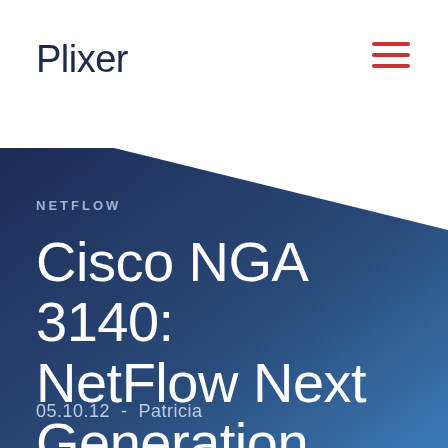Plixer
NETFLOW
Cisco NGA 3140: NetFlow Next Generation Appliance
05.10.12 - Patricia